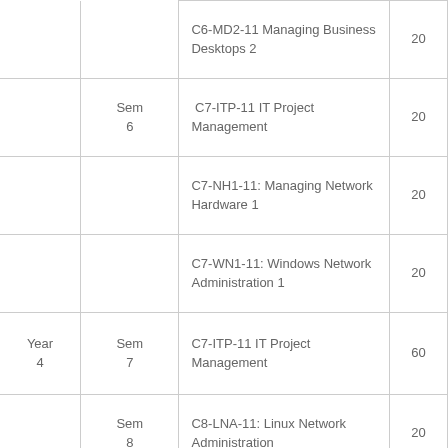| Year | Sem | Module | Credits |
| --- | --- | --- | --- |
|  |  | C6-MD2-11 Managing Business Desktops 2 | 20 |
|  | Sem 6 | C7-ITP-11 IT Project Management | 20 |
|  |  | C7-NH1-11: Managing Network Hardware 1 | 20 |
|  |  | C7-WN1-11: Windows Network Administration 1 | 20 |
| Year 4 | Sem 7 | C7-ITP-11 IT Project Management | 60 |
|  | Sem 8 | C8-LNA-11: Linux Network Administration | 20 |
|  |  | C8-NH2-11: Managing Network Hardware 2 | 20 |